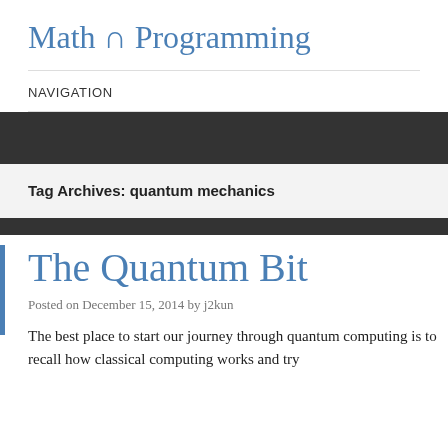Math ∩ Programming
NAVIGATION
Tag Archives: quantum mechanics
The Quantum Bit
Posted on December 15, 2014 by j2kun
The best place to start our journey through quantum computing is to recall how classical computing works and try